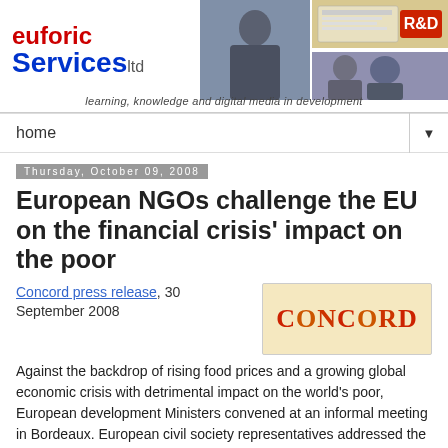[Figure (logo): Euforic Services Ltd banner with logo on left and photos of people/R&D panel on right, tagline: learning, knowledge and digital media in development]
home
Thursday, October 09, 2008
European NGOs challenge the EU on the financial crisis’ impact on the poor
Concord press release, 30 September 2008
[Figure (logo): CONCORD logo on yellow/cream background]
Against the backdrop of rising food prices and a growing global economic crisis with detrimental impact on the world’s poor, European development Ministers convened at an informal meeting in Bordeaux. European civil society representatives addressed the ministers, urging them to fulfil their responsibilities to